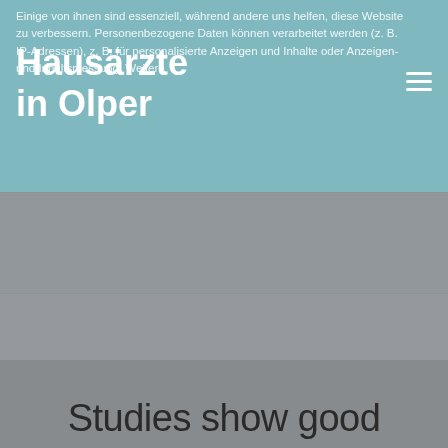Einige von ihnen sind essenziell, während andere uns helfen, diese Website zu verbessern. Personenbezogene Daten können verarbeitet werden (z. B. IP-Adressen), z. B. für personalisierte Anzeigen und Inhalte oder Anzeigen- und Inhaltsmessung. Weitere
Hausärzte in Olper
Essenziell
Externe Medien
is a clarity regiment
Studies show good